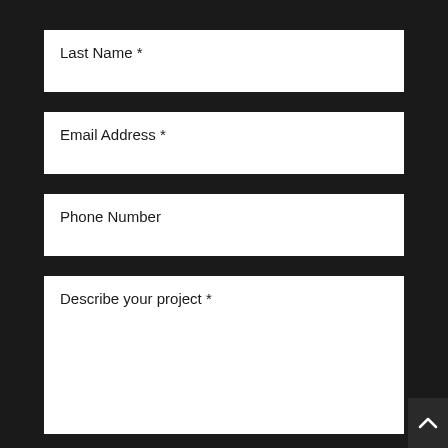Last Name *
Email Address *
Phone Number
Describe your project *